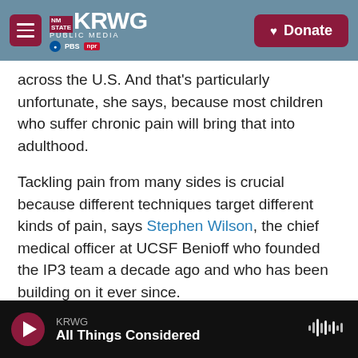KRWG PUBLIC MEDIA | NM STATE | PBS NPR | Donate
across the U.S. And that's particularly unfortunate, she says, because most children who suffer chronic pain will bring that into adulthood.
Tackling pain from many sides is crucial because different techniques target different kinds of pain, says Stephen Wilson, the chief medical officer at UCSF Benioff who founded the IP3 team a decade ago and who has been building on it ever since.
Chemotherapy, for example, can cause many kinds of pain and discomfort in a child with cancer.
KRWG | All Things Considered